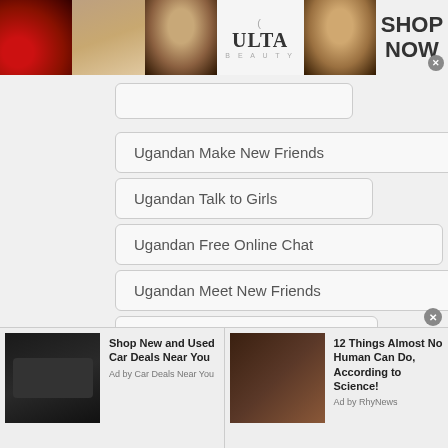[Figure (screenshot): Top banner advertisement for ULTA Beauty with makeup images and SHOP NOW call to action]
Ugandan Make New Friends
Ugandan Talk to Girls
Ugandan Free Online Chat
Ugandan Meet New Friends
Ugandan World Chat
Ugandan International Chat
Ugandan Depression Chat
[Figure (screenshot): Bottom advertisement bar: Shop New and Used Car Deals Near You (Ad by Car Deals Near You) and 12 Things Almost No Human Can Do, According to Science! (Ad by RhyNews)]